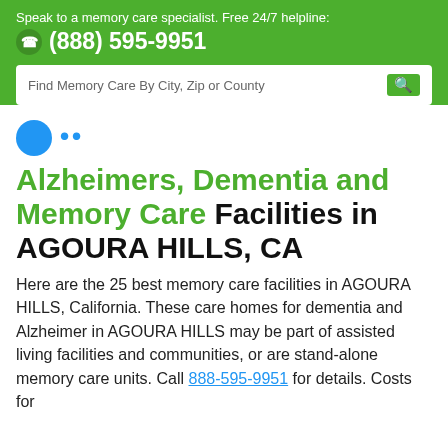Speak to a memory care specialist. Free 24/7 helpline: (888) 595-9951
Find Memory Care By City, Zip or County
Alzheimers, Dementia and Memory Care Facilities in AGOURA HILLS, CA
Here are the 25 best memory care facilities in AGOURA HILLS, California. These care homes for dementia and Alzheimer in AGOURA HILLS may be part of assisted living facilities and communities, or are stand-alone memory care units. Call 888-595-9951 for details. Costs for